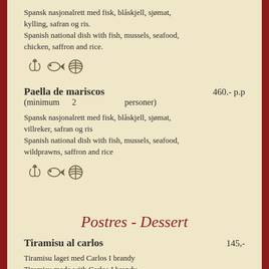Spansk nasjonalrett med fisk, blåskjell, sjømat, kylling, safran og ris.
Spanish national dish with fish, mussels, seafood, chicken, saffron and rice.
[Figure (illustration): Three food icons: lobster/crab claw, fish, shellfish/nut]
Paella de mariscos   460.- p.p
(minimum   2   personer)
Spansk nasjonalrett med fisk, blåskjell, sjømat, villreker, safran og ris
Spanish national dish with fish, mussels, seafood, wildprawns, saffron and rice
[Figure (illustration): Three food icons: lobster/crab claw, fish, shellfish/nut]
Postres - Dessert
Tiramisu al carlos   145,-
Tiramisu laget med Carlos I brandy
Tiramisu made with Carlos I brandy